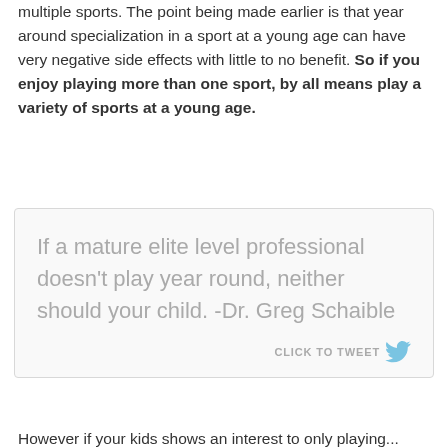then there is certainly no reason they have to play multiple sports. The point being made earlier is that year around specialization in a sport at a young age can have very negative side effects with little to no benefit. So if you enjoy playing more than one sport, by all means play a variety of sports at a young age.
[Figure (other): Quote box with light gray border containing the text: 'If a mature elite level professional doesn't play year round, neither should your child. -Dr. Greg Schaible' with a 'CLICK TO TWEET' button and Twitter bird icon at the bottom right.]
However if your kids shows an interest to only playing...